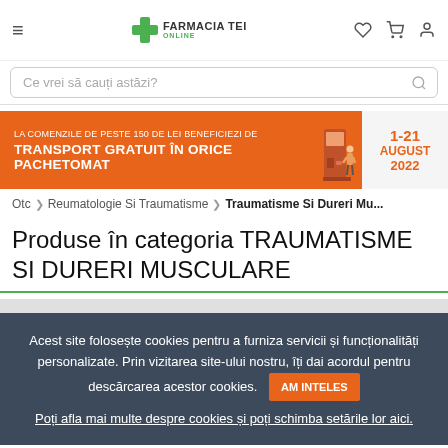[Figure (logo): Farmacia Tei Online pharmacy logo with green cross and text]
Ce vrei să cauți astăzi?
[Figure (infographic): Banner: LA COMENZILE DE PESTE 150 DE LEI BENEFICIEZI DE TRANSPORT GRATUIT ÎN ORICE PACHETOMAT, 1-21 AUGUST 2022]
Otc > Reumatologie Si Traumatisme > Traumatisme Si Dureri Mu...
Produse în categoria TRAUMATISME SI DURERI MUSCULARE
Acest site folosește cookies pentru a furniza servicii și funcționalități personalizate. Prin vizitarea site-ului nostru, îți dai acordul pentru descărcarea acestor cookies. AM INTELES
Poți afla mai multe despre cookies și poți schimba setările lor aici.